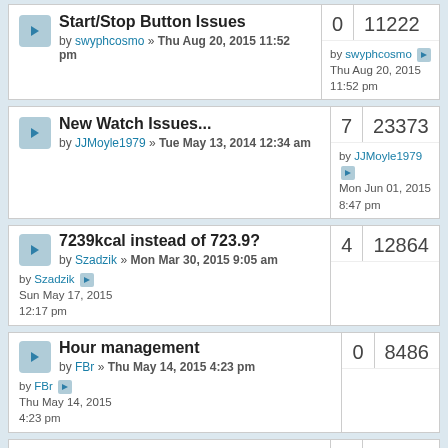Start/Stop Button Issues by swyphcosmo » Thu Aug 20, 2015 11:52 pm | 0 replies | 11222 views | by swyphcosmo Thu Aug 20, 2015 11:52 pm
New Watch Issues... by JJMoyle1979 » Tue May 13, 2014 12:34 am | 7 replies | 23373 views | by JJMoyle1979 Mon Jun 01, 2015 8:47 pm
7239kcal instead of 723.9? by Szadzik » Mon Mar 30, 2015 9:05 am | 4 replies | 12864 views | by Szadzik Sun May 17, 2015 12:17 pm
Hour management by FBr » Thu May 14, 2015 4:23 pm | 0 replies | 8486 views | by FBr Thu May 14, 2015 4:23 pm
First time sync TROUBLES | 6 replies | 18348 views